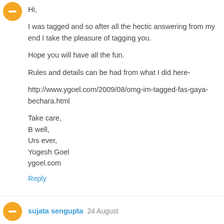[Figure (illustration): Orange circular avatar with white minus/person icon, top-left of first comment]
Hi,

I was tagged and so after all the hectic answering from my end I take the pleasure of tagging you.

Hope you will have all the fun.

Rules and details can be had from what I did here-

http://www.ygoel.com/2009/08/omg-im-tagged-fas-gaya-bechara.html

Take care,
B well,
Urs ever,
Yogesh Goel
ygoel.com
Reply
[Figure (illustration): Orange circular avatar with white minus/person icon, bottom-left for sujata sengupta comment]
sujata sengupta  24 August